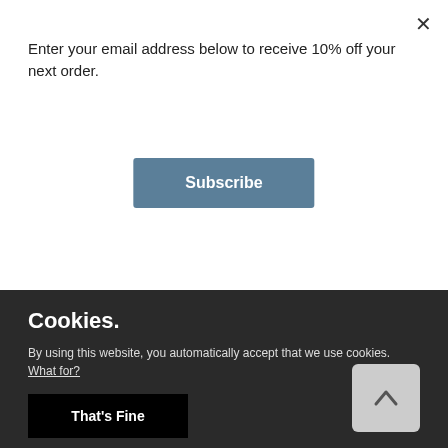Enter your email address below to receive 10% off your next order.
Subscribe
[Figure (photo): Woman wearing a black sleeveless dress with ruched waist, standing in front of red flowers. Cropped to show torso.]
Cookies.
By using this website, you automatically accept that we use cookies. What for?
That's Fine